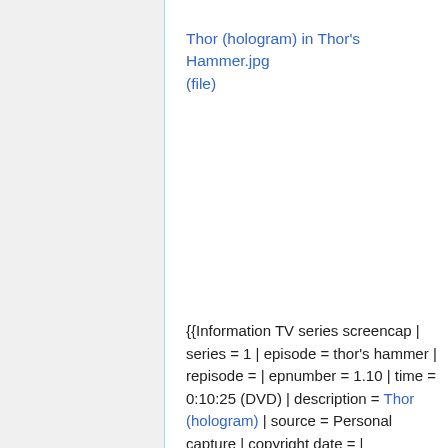Thor (hologram) in Thor's Hammer.jpg (file)
{{Information TV series screencap | series = 1 | episode = thor's hammer | repisode = | epnumber = 1.10 | time = 0:10:25 (DVD) | description = Thor (hologram) | source = Personal capture | copyright date = | screenshot date =